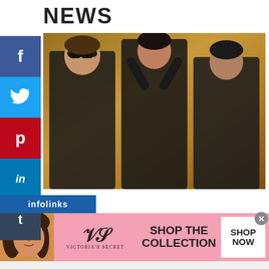NEWS
[Figure (photo): Three people posing against a golden/brown wall. From left: a man in sunglasses and dark coat, a woman in the center wearing a dark blazer open over a strappy bra top with dark pants, hands raised to head, and a man on the right in a dark suit.]
[Figure (infographic): Victoria's Secret advertisement banner with a model, VS logo, text 'SHOP THE COLLECTION' and a 'SHOP NOW' button on pink background.]